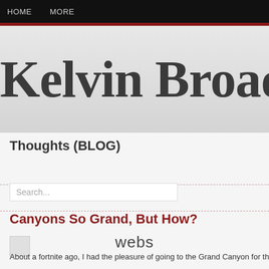HOME   MORE
Kelvin Broadu
Thoughts (BLOG)
Search...
Canyons So Grand, But How?
webs
About a fortnite ago, I had the pleasure of going to the Grand Canyon for the